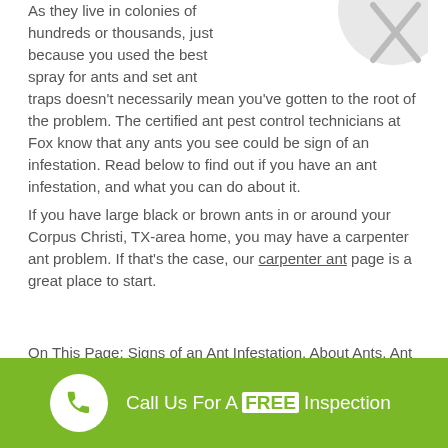As they live in colonies of hundreds or thousands, just because you used the best spray for ants and set ant traps doesn't necessarily mean you've gotten to the root of the problem. The certified ant pest control technicians at Fox know that any ants you see could be sign of an infestation. Read below to find out if you have an ant infestation, and what you can do about it.
If you have large black or brown ants in or around your Corpus Christi, TX-area home, you may have a carpenter ant problem. If that's the case, our carpenter ant page is a great place to start.
On This Page: Signs of an Ant Infestation, About Ants, Ant Prevention Tips, How To Get Rid of Ants, FAQs
Signs of an Ant Infestation
Call Us For A FREE Inspection